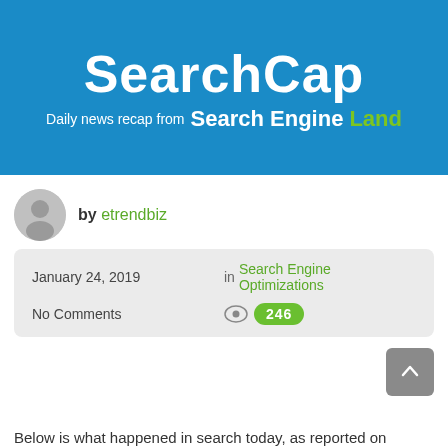[Figure (logo): SearchCap banner with blue background. Large white bold text 'SearchCap' and subtitle 'Daily news recap from Search Engine Land' where 'Search Engine' is white bold and 'Land' is green bold.]
by etrendbiz
January 24, 2019    in Search Engine Optimizations
No Comments    246
Below is what happened in search today, as reported on